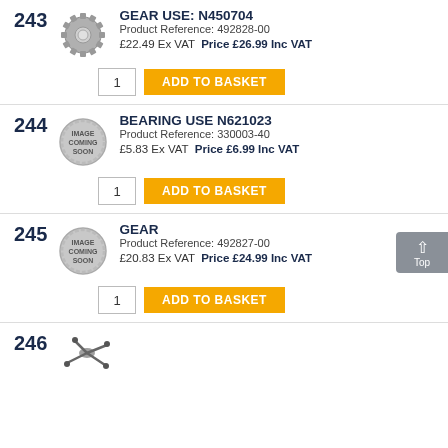243
[Figure (photo): Metal gear/sprocket part image]
GEAR USE: N450704
Product Reference: 492828-00
£22.49 Ex VAT  Price £26.99 Inc VAT
1  ADD TO BASKET
244
[Figure (other): Image Coming Soon badge]
BEARING USE N621023
Product Reference: 330003-40
£5.83 Ex VAT  Price £6.99 Inc VAT
1  ADD TO BASKET
245
[Figure (other): Image Coming Soon badge]
GEAR
Product Reference: 492827-00
£20.83 Ex VAT  Price £24.99 Inc VAT
1  ADD TO BASKET
246
[Figure (photo): Small mechanical part image]